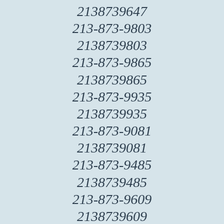2138739647
213-873-9803
2138739803
213-873-9865
2138739865
213-873-9935
2138739935
213-873-9081
2138739081
213-873-9485
2138739485
213-873-9609
2138739609
213-873-9175
2138739175
213-873-9226